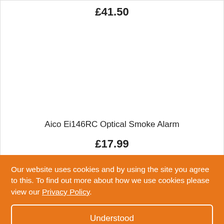£41.50
Aico Ei146RC Optical Smoke Alarm
£17.99
Our website uses cookies and by using the site you agree to this. To find out more about how we use cookies please view our Privacy Policy.
Understood